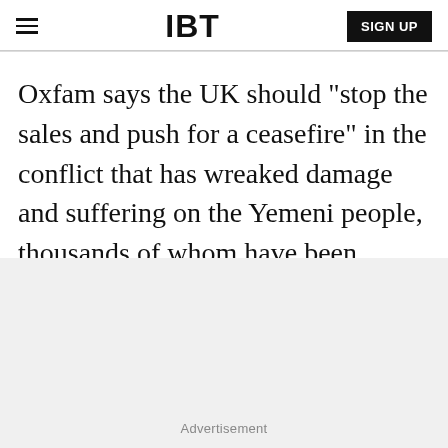IBT | SIGN UP
Oxfam says the UK should "stop the sales and push for a ceasefire" in the conflict that has wreaked damage and suffering on the Yemeni people, thousands of whom have been injured in hostilities.
Advertisement